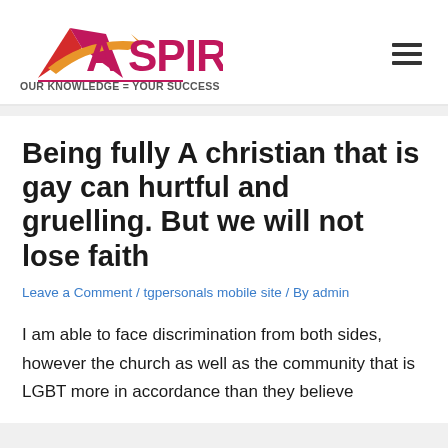[Figure (logo): Aspire logo with mountain/arrow graphic in red, pink, and orange, with tagline OUR KNOWLEDGE = YOUR SUCCESS]
Being fully A christian that is gay can hurtful and gruelling. But we will not lose faith
Leave a Comment / tgpersonals mobile site / By admin
I am able to face discrimination from both sides, however the church as well as the community that is LGBT more in accordance than they believe